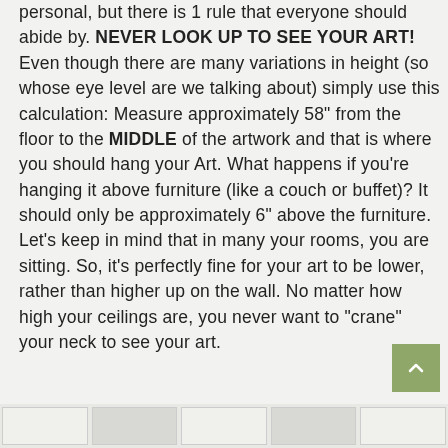personal, but there is 1 rule that everyone should abide by. NEVER LOOK UP TO SEE YOUR ART! Even though there are many variations in height (so whose eye level are we talking about) simply use this calculation: Measure approximately 58" from the floor to the MIDDLE of the artwork and that is where you should hang your Art. What happens if you're hanging it above furniture (like a couch or buffet)? It should only be approximately 6" above the furniture. Let's keep in mind that in many your rooms, you are sitting. So, it's perfectly fine for your art to be lower, rather than higher up on the wall. No matter how high your ceilings are, you never want to "crane" your neck to see your art.